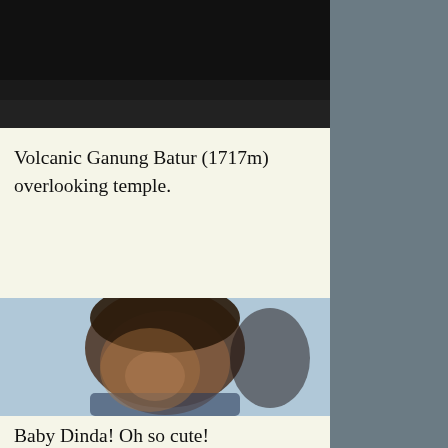[Figure (photo): Dark/black photograph, appears to be a volcanic landscape scene — Ganung Batur volcano]
Volcanic Ganung Batur (1717m) overlooking temple.
[Figure (photo): Close-up blurry photograph of a baby or young child with dark hair — Baby Dinda]
Baby Dinda! Oh so cute!